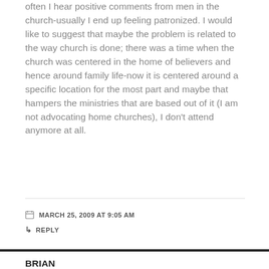often I hear positive comments from men in the church-usually I end up feeling patronized. I would like to suggest that maybe the problem is related to the way church is done; there was a time when the church was centered in the home of believers and hence around family life-now it is centered around a specific location for the most part and maybe that hampers the ministries that are based out of it (I am not advocating home churches), I don't attend anymore at all.
MARCH 25, 2009 AT 9:05 AM
REPLY
BRIAN